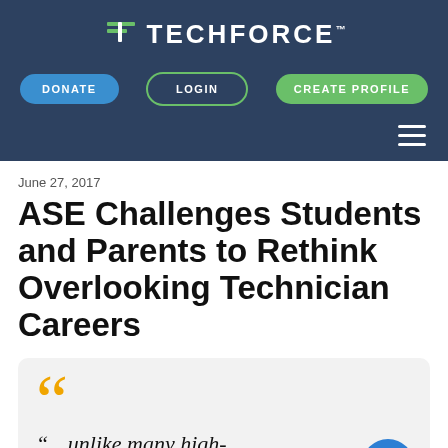[Figure (logo): TechForce logo with icon and wordmark on dark blue navigation header]
[Figure (screenshot): Navigation bar with Donate, Login, and Create Profile buttons on dark blue background, with hamburger menu icon]
June 27, 2017
ASE Challenges Students and Parents to Rethink Overlooking Technician Careers
[Figure (other): Pull quote box with orange quotation marks and italic text: “…unlike many high-tech careers that require]
“…unlike many high-tech careers that require